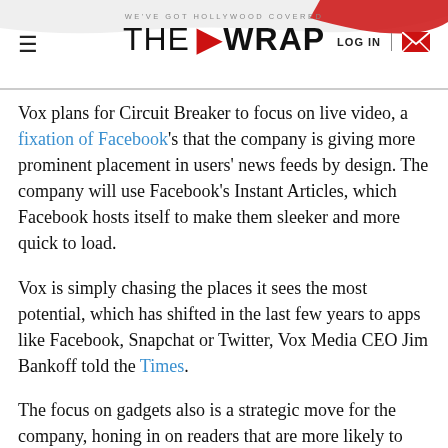WE'VE GOT HOLLYWOOD COVERED — THE WRAP — LOG IN
Vox plans for Circuit Breaker to focus on live video, a fixation of Facebook's that the company is giving more prominent placement in users' news feeds by design. The company will use Facebook's Instant Articles, which Facebook hosts itself to make them sleeker and more quick to load.
Vox is simply chasing the places it sees the most potential, which has shifted in the last few years to apps like Facebook, Snapchat or Twitter, Vox Media CEO Jim Bankoff told the Times.
The focus on gadgets also is a strategic move for the company, honing in on readers that are more likely to